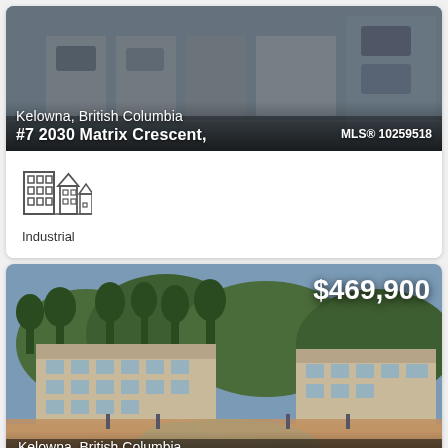[Figure (photo): Aerial/parking lot view of industrial property in Kelowna, British Columbia with text overlay showing address and MLS number]
Kelowna, British Columbia
#7 2030 Matrix Crescent,   MLS® 10259518
[Figure (illustration): Icon of industrial/commercial building]
Industrial
[Figure (photo): Photo of residential condo complex with outdoor pool in Kelowna, British Columbia, price $469,900 shown]
$469,900
Kelowna, British Columbia
#1105 3168 Via Centrale Road   MLS® 10259425